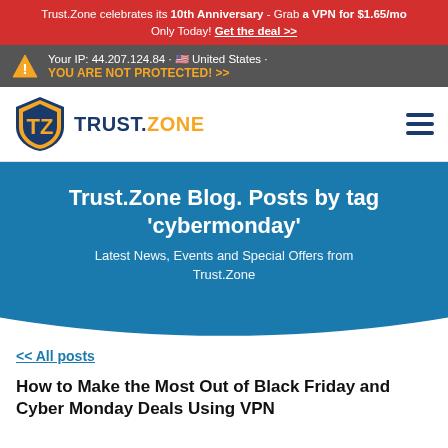Trust.Zone celebrates its 10th Anniversary - Grab a VPN for $1.65/mo Only Today! Get the deal >>
Your IP: 44.207.124.84 · 🇺🇸 United States · YOU ARE NOT PROTECTED! >>
[Figure (logo): Trust.Zone logo with shield icon containing TZ letters in blue and yellow]
Trust.Zone Blog. Posts by tag 'cybermonday'
Latest News, Events and Special Offers from Trust.Zone
<< All posts
How to Make the Most Out of Black Friday and Cyber Monday Deals Using VPN